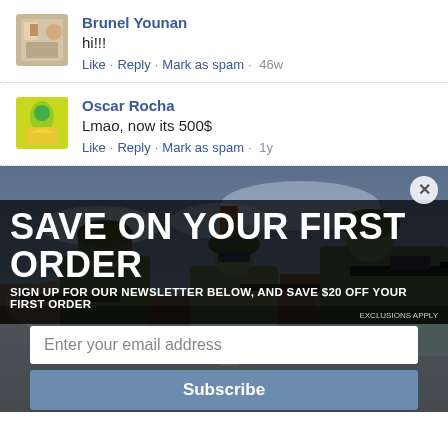[Figure (photo): Profile avatar of Brunel Younan - childlike drawing/photo]
Brunel Younan
hi!!!
Like · Reply · Mark as spam · 46w
[Figure (photo): Profile avatar of Oscar Rocha - yellow/green artistic image]
Oscar Rocha
Lmao, now its 500$
Like · Reply · Mark as spam · 1y
[Figure (photo): Advertisement overlay showing soldiers in military gear aiming rifles, with promotional text 'SAVE ON YOUR FIRST ORDER', signup newsletter form with email input and subscribe button]